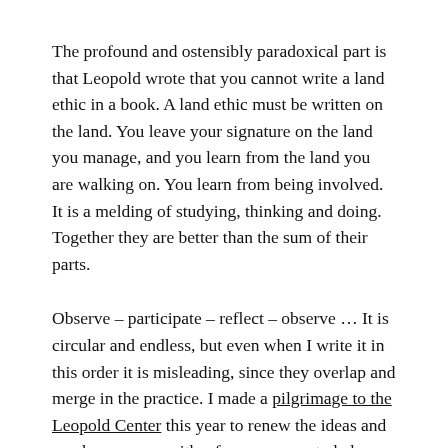The profound and ostensibly paradoxical part is that Leopold wrote that you cannot write a land ethic in a book. A land ethic must be written on the land. You leave your signature on the land you manage, and you learn from the land you are walking on. You learn from being involved. It is a melding of studying, thinking and doing. Together they are better than the sum of their parts.
Observe – participate – reflect – observe … It is circular and endless, but even when I write it in this order it is misleading, since they overlap and merge in the practice. I made a pilgrimage to the Leopold Center this year to renew the ideas and maybe come up with a few new ones to help me write a land ethic on my land.
I am looking back over the last year and forward to the next. I wrote contemporaneous notes and commentary. I